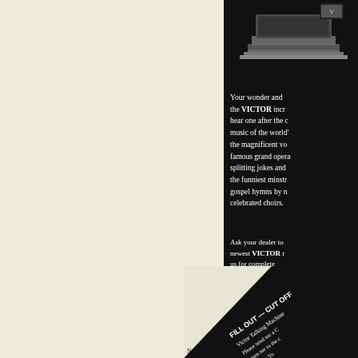[Figure (photo): Partial view of a Victor Talking Machine phonograph cabinet on a dark background — top portion visible showing cabinet and horn]
Your wonder and the VICTOR incr hear one after the c music of the world' the magnificent vo famous grand opera splitting jokes and the funniest minstr gospel hymns by n celebrated choirs.
Ask your dealer to newest VICTOR r us for complete
FILL OUT — CUT OFF
Victor Talking Machine
Please send me a C
return me to the c
cut here Yo
VICTOR TAL
CA